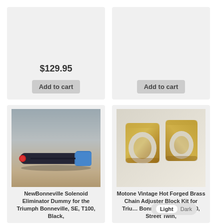$129.95
Add to cart
Add to cart
[Figure (photo): Solenoid eliminator dummy plug — a dark blue/black automotive connector with a blue connector tip and red end cap, placed on a wooden surface.]
NewBonneville Solenoid Eliminator Dummy for the Triumph Bonneville, SE, T100, Black,
[Figure (photo): Two gold/brass forged chain adjuster blocks with circular holes, shown against a white background.]
Motone Vintage Hot Forged Brass Chain Adjuster Block Kit for Triumph Bonneville, T100, T120, Street Twin,